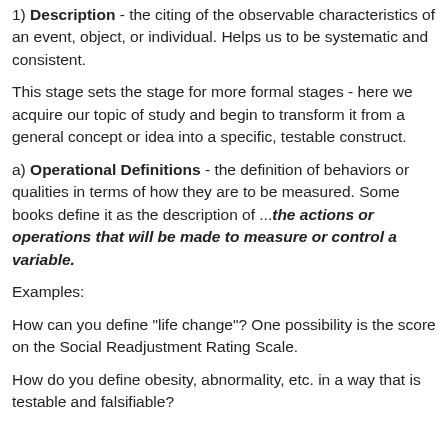1) Description - the citing of the observable characteristics of an event, object, or individual. Helps us to be systematic and consistent.
This stage sets the stage for more formal stages - here we acquire our topic of study and begin to transform it from a general concept or idea into a specific, testable construct.
a) Operational Definitions - the definition of behaviors or qualities in terms of how they are to be measured. Some books define it as the description of ...the actions or operations that will be made to measure or control a variable.
Examples:
How can you define "life change"? One possibility is the score on the Social Readjustment Rating Scale.
How do you define obesity, abnormality, etc. in a way that is testable and falsifiable?